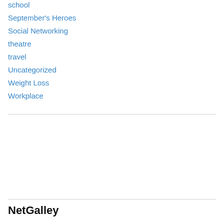school
September's Heroes
Social Networking
theatre
travel
Uncategorized
Weight Loss
Workplace
[Figure (logo): Blog With Integrity badge — blue square with white text reading BLOG WITH INTEGRITY and blogwithintegrity.com]
NetGalley